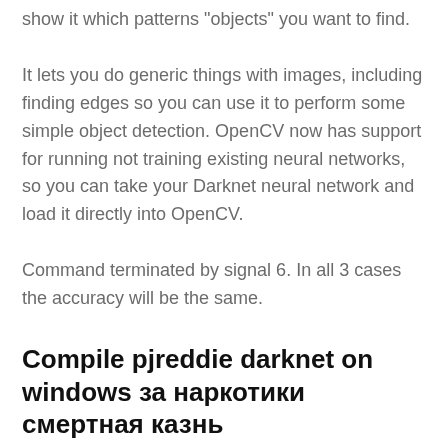show it which patterns "objects" you want to find.
It lets you do generic things with images, including finding edges so you can use it to perform some simple object detection. OpenCV now has support for running not training existing neural networks, so you can take your Darknet neural network and load it directly into OpenCV.
Command terminated by signal 6. In all 3 cases the accuracy will be the same.
Compile pjreddie darknet on windows за наркотики смертная казнь
Dominant Colour Detection Using Opencv - ASMR Programming